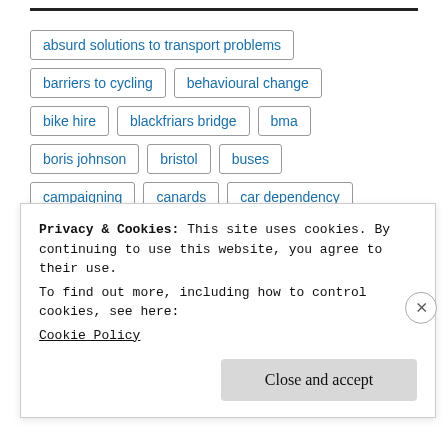absurd solutions to transport problems
barriers to cycling
behavioural change
bike hire
blackfriars bridge
bma
boris johnson
bristol
buses
campaigning
canards
car dependency
china
climate change
Privacy & Cookies: This site uses cookies. By continuing to use this website, you agree to their use.
To find out more, including how to control cookies, see here:
Cookie Policy
Close and accept